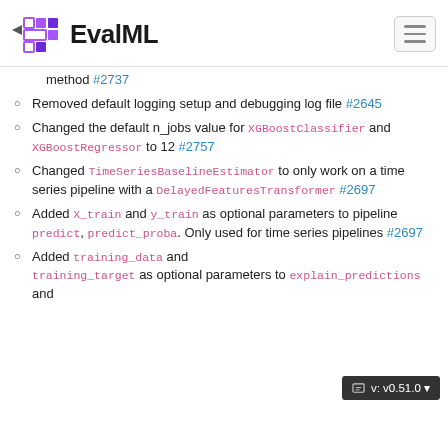EvalML
method #2737
Removed default logging setup and debugging log file #2645
Changed the default n_jobs value for XGBoostClassifier and XGBoostRegressor to 12 #2757
Changed TimeSeriesBaselineEstimator to only work on a time series pipeline with a DelayedFeaturesTransformer #2697
Added X_train and y_train as optional parameters to pipeline predict, predict_proba. Only used for time series pipelines #2697
Added training_data and training_target as optional parameters to explain_predictions and